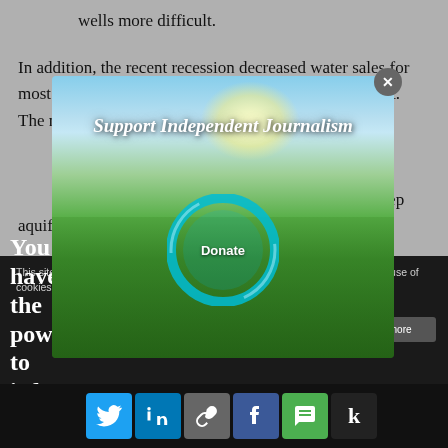wells more difficult.
In addition, the recent recession decreased water sales for most utilities, but economic recovery could reverse that. The near-term localized conditions may not be [obscured] aquifer, may be [obscured] or the next 50 [obscured] water levels i[obscured] ble. The ne[obscured] ge the long-te[obscured] e deep aquifer[obscured]
legislation was [obscured] place to better protect and conserve water [obscured] es. The Wisconsin Legislature and regional te[obscured] that 150 feet of drawdown is h[obscured] With deep aquifer drawdo[obscured]
[Figure (screenshot): Modal popup overlay with 'Support Independent Journalism' text over a green field landscape image with a cyan donate ring button. Contains a close (X) button in the top right corner.]
This site uses cookies. By continuing to browse the site, you are agreeing to our use of cookies.
You have the power to inform
[Figure (screenshot): Social sharing bar with Twitter, LinkedIn, link, Facebook, SMS, and Kindle share icons at the bottom of the page.]